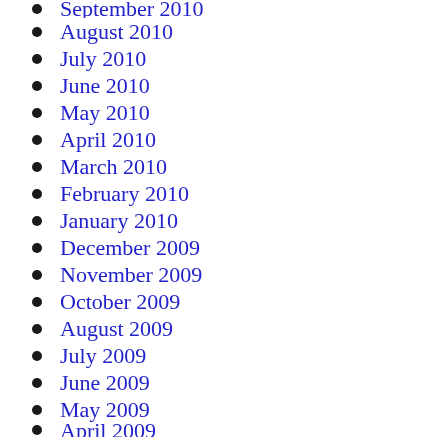September 2010
August 2010
July 2010
June 2010
May 2010
April 2010
March 2010
February 2010
January 2010
December 2009
November 2009
October 2009
August 2009
July 2009
June 2009
May 2009
April 2009